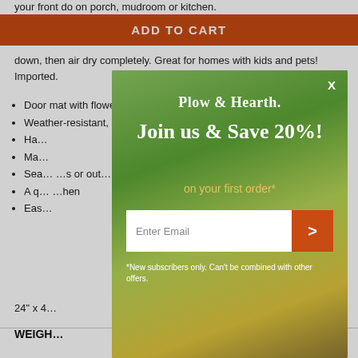your front do on porch, mudroom or kitchen.
ADD TO CART
down, then air dry completely. Great for homes with kids and pets! Imported.
Door mat with flowers, grasses and butterflies in spring colors
Weather-resistant, super-durable 100% polypropylene res...
Ha...
Ma...
Sea... s or out...
A q... hen
Eas...
24" x 4...
WEIGH...
[Figure (other): Plow & Hearth promotional popup overlay with outdoor furniture photo background, headline 'Join us & Save 20%!' and email signup form with 'Enter Email' input and orange submit button, fine print '*New subscribers only. Can't be combined with other offers.']